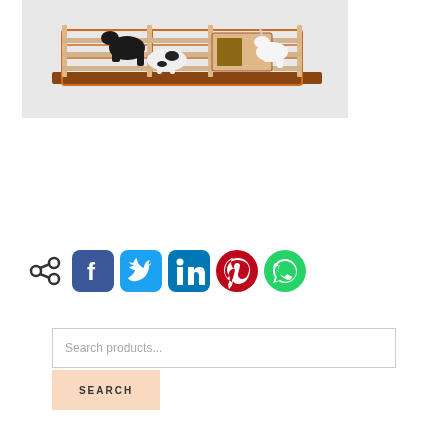[Figure (photo): A wooden toy horse corral/stable set with multiple horse figurines inside a fenced enclosure, photographed against a light gray background.]
[Figure (infographic): Social share icons: share arrow icon, Facebook (blue), Twitter (cyan), LinkedIn (teal), Pinterest (red), WhatsApp (green)]
Search products...
SEARCH